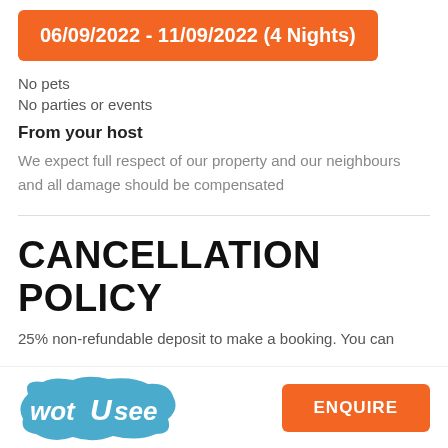06/09/2022 - 11/09/2022 (4 Nights)
No pets
No parties or events
From your host
We expect full respect of our property and our neighbours and all damage should be compensated
CANCELLATION POLICY
25% non-refundable deposit to make a booking. You can
[Figure (logo): wotUsee logo in blue with stylized text]
ENQUIRE